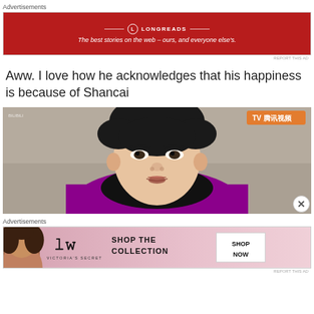Advertisements
[Figure (screenshot): Red advertisement banner for Longreads: 'The best stories on the web – ours, and everyone else's.']
REPORT THIS AD
Aww. I love how he acknowledges that his happiness is because of Shancai
[Figure (photo): Close-up photo of a young Asian man with dark hair, wearing a purple/black jacket, mouth slightly open, with a watermark in top-right corner.]
Advertisements
[Figure (screenshot): Victoria's Secret advertisement banner: 'SHOP THE COLLECTION' with a SHOP NOW button and a woman with curly hair on the left.]
REPORT THIS AD